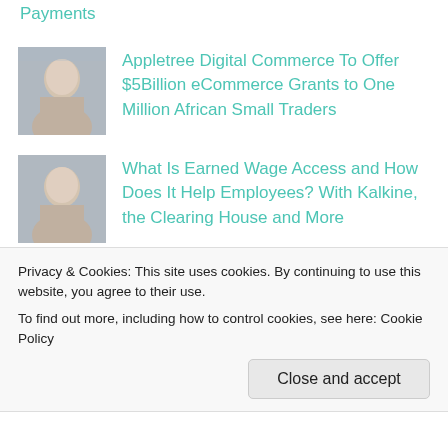Payments
[Figure (photo): Portrait photo of a young person]
Appletree Digital Commerce To Offer $5Billion eCommerce Grants to One Million African Small Traders
[Figure (photo): Portrait photo of a young person]
What Is Earned Wage Access and How Does It Help Employees? With Kalkine, the Clearing House and More
[Figure (photo): Portrait photo of a man in a suit]
New Report Details How To Choose Sustainability Over Profitability as the
Privacy & Cookies: This site uses cookies. By continuing to use this website, you agree to their use.
To find out more, including how to control cookies, see here: Cookie Policy